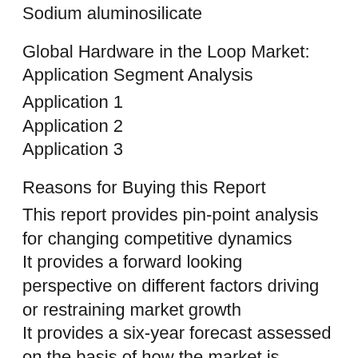Sodium aluminosilicate
Global Hardware in the Loop Market: Application Segment Analysis
Application 1
Application 2
Application 3
Reasons for Buying this Report
This report provides pin-point analysis for changing competitive dynamics
It provides a forward looking perspective on different factors driving or restraining market growth
It provides a six-year forecast assessed on the basis of how the market is predicted to grow
It helps in understanding the key product segments and their future